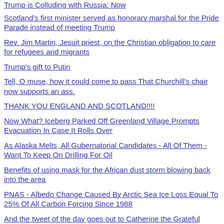Trump is Colluding with Russia: Now
Scotland's first minister served as honorary marshal for the Pride Parade instead of meeting Trump
Rev. Jim Martin, Jesuit priest, on the Christian obligation to care for refugees and migrants
Trump's gift to Putin
Tell, O muse, how it could come to pass That Churchill's chair now supports an ass.
THANK YOU ENGLAND AND SCOTLAND!!!!
Now What? Iceberg Parked Off Greenland Village Prompts Evacuation In Case It Rolls Over
As Alaska Melts, All Gubernatorial Candidates - All Of Them - Want To Keep On Drilling For Oil
Benefits of using mask for the African dust storm blowing back into the area
PNAS - Albedo Change Caused By Arctic Sea Ice Loss Equal To 25% Of All Carbon Forcing Since 1988
And the tweet of the day goes out to Catherine the Grateful
Todd Litton, a Dem candidate in #TX02, raised nearly $300,000 in Q2
The ACLU is launching a new electoral program to mobilize its 1.8 million